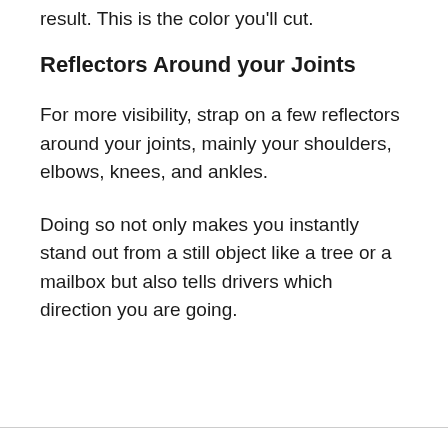result. This is the color you'll cut.
Reflectors Around your Joints
For more visibility, strap on a few reflectors around your joints, mainly your shoulders, elbows, knees, and ankles.
Doing so not only makes you instantly stand out from a still object like a tree or a mailbox but also tells drivers which direction you are going.